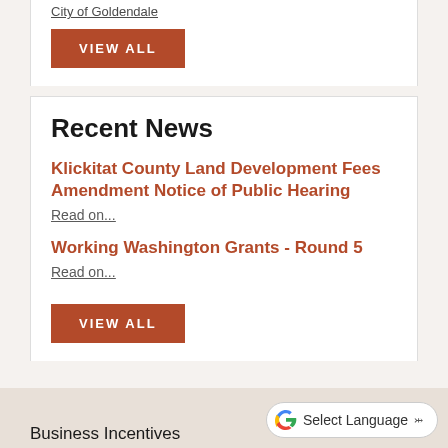City of Goldendale (link, underlined, partially visible)
VIEW ALL
Recent News
Klickitat County Land Development Fees Amendment Notice of Public Hearing
Read on...
Working Washington Grants - Round 5
Read on...
VIEW ALL
Select Language
Business Incentives